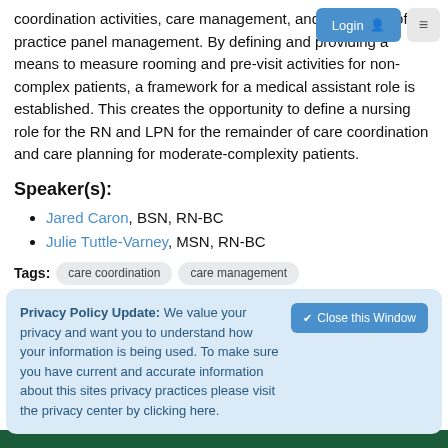coordination activities, care management, and facilitation of practice panel management. By defining and providing a means to measure rooming and pre-visit activities for non-complex patients, a framework for a medical assistant role is established. This creates the opportunity to define a nursing role for the RN and LPN for the remainder of care coordination and care planning for moderate-complexity patients.
Speaker(s):
Jared Caron, BSN, RN-BC
Julie Tuttle-Varney, MSN, RN-BC
Tags: care coordination  care management  practice transformation
Privacy Policy Update: We value your privacy and want you to understand how your information is being used. To make sure you have current and accurate information about this sites privacy practices please visit the privacy center by clicking here.